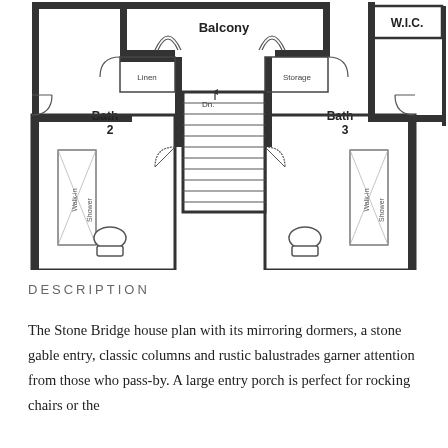[Figure (engineering-diagram): Second floor architectural plan showing Balcony at top center, W.I.C. at top right, Bath 2 with walk-in shower on left side, Bath 3 with walk-in shower on right side, Linen closet, Storage, and staircase with Dn. label in center.]
DESCRIPTION
The Stone Bridge house plan with its mirroring dormers, a stone gable entry, classic columns and rustic balustrades garner attention from those who pass-by. A large entry porch is perfect for rocking chairs or the